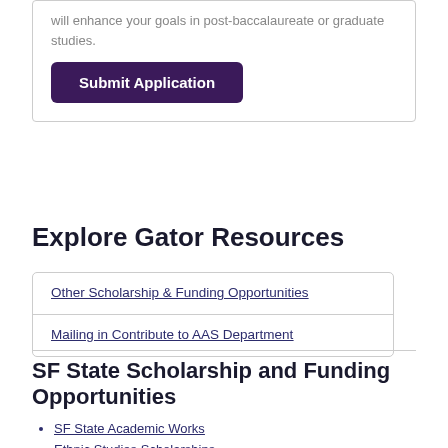will enhance your goals in post-baccalaureate or graduate studies.
Submit Application
Explore Gator Resources
Other Scholarship & Funding Opportunities
Mailing in Contribute to AAS Department
SF State Scholarship and Funding Opportunities
SF State Academic Works
Ethnic Studies Scholarships
San Francisco Unified School District (SFUSD) Seniors Admitted to SF State
SF State Financial Aid